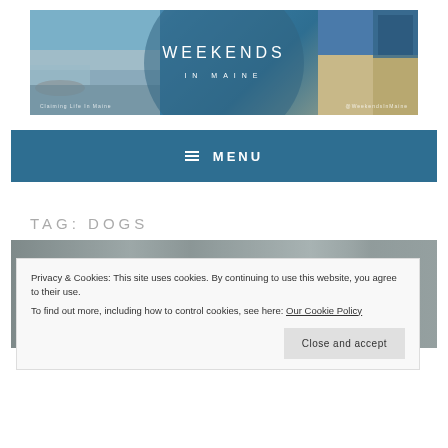[Figure (illustration): Weekends in Maine website banner with coastal beach and forest photos and circular overlay with title text]
≡ MENU
TAG: DOGS
Privacy & Cookies: This site uses cookies. By continuing to use this website, you agree to their use. To find out more, including how to control cookies, see here: Our Cookie Policy
Close and accept